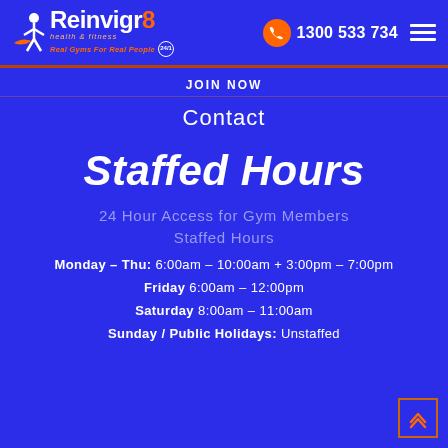[Figure (logo): Reinvigr8 health & fitness logo with orange figure, tagline 'Real Gyms For Real People', 24/7 badge]
1300 533 734
JOIN NOW
Contact
Staffed Hours
24 Hour Access for Gym Members
Staffed Hours
Monday – Thu: 6:00am – 10:00am + 3:00pm – 7:00pm
Friday 6:00am – 12:00pm
Saturday 8:00am – 11:00am
Sunday / Public Holidays: Unstaffed